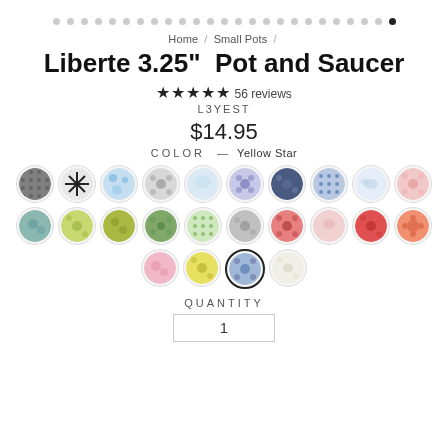[Figure (other): Image carousel dots navigation with 25 dots, last one filled/active]
Home / Small Pots /
Liberte 3.25" Pot and Saucer
★★★★★ 56 reviews
L3YEST
$14.95
COLOR — Yellow Star
[Figure (other): Color swatch selectors - two rows of 10 swatches each (dark gray damask, black cross, blue floral, gray pattern, light blue, blue/purple floral, navy, blue dots, light blue cloud, pink), (teal, yellow-green, olive green, dark green floral, light green dots, gray floral, red floral, pink, red, orange/red mandala), then a row of 4 (pink, yellow, blue selected, white floral)]
QUANTITY
1